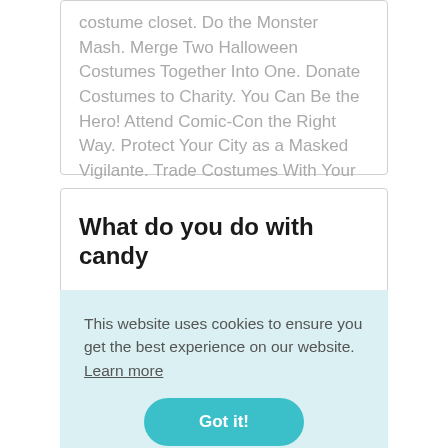costume closet. Do the Monster Mash. Merge Two Halloween Costumes Together Into One. Donate Costumes to Charity. You Can Be the Hero! Attend Comic-Con the Right Way. Protect Your City as a Masked Vigilante. Trade Costumes With Your Friends.
What do you do with candy
This website uses cookies to ensure you get the best experience on our website. Learn more
Got it!
other businesses hold Halloween candy